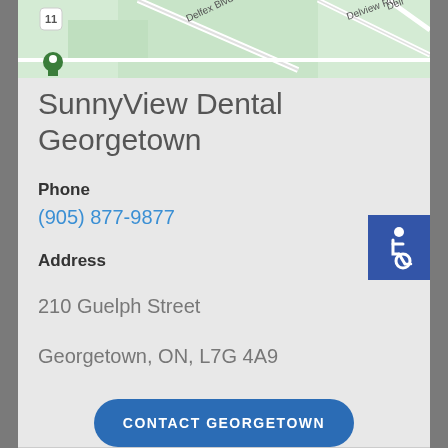[Figure (map): Google Maps snippet showing roads including Delfex Blvd, Delview Rd S, and route 11 marker in Georgetown, ON area]
SunnyView Dental Georgetown
Phone
(905) 877-9877
Address
210 Guelph Street
Georgetown, ON, L7G 4A9
CONTACT GEORGETOWN